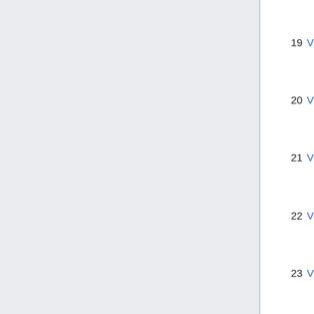18.1  Resolved bugs
18.2  Added functionality
19  V1.0.126
19.1  Resolved bugs
19.2  Added functionality
20  V1.0.124
20.1  Resolved bugs
20.2  Added functionality
21  V1.0.121
21.1  Resolved bugs
21.2  Added functionality
22  V1.0.120
22.1  Resolved bugs
22.2  Added functionality
23  V1.0.119
23.1  Resolved bugs
23.2  Added functionality
23.3  Release instructions
23.3.1  Guideline how to add a module that can't be discovered